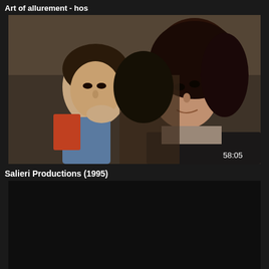Art of allurement - hos
[Figure (screenshot): Video thumbnail showing two people in an intimate scene, timestamp 58:05 shown in bottom right corner]
Salieri Productions (1995)
[Figure (photo): Dark/black video thumbnail placeholder]